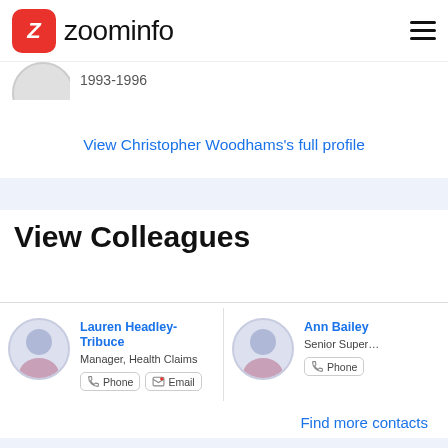zoominfo
1993-1996
View Christopher Woodhams's full profile
View Colleagues
Lauren Headley-Tribuce
Manager, Health Claims
Phone | Email
Ann Bailey
Senior Super...
Phone
Find more contacts